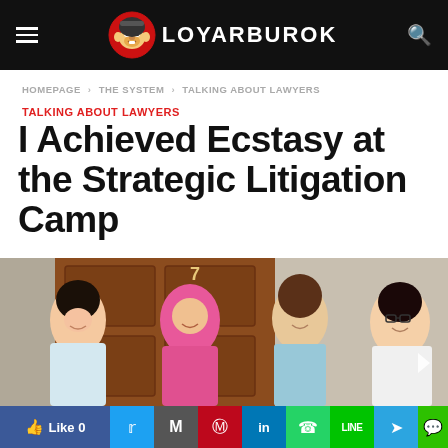LOYARBUROK
HOMEPAGE > THE SYSTEM > TALKING ABOUT LAWYERS
TALKING ABOUT LAWYERS
I Achieved Ecstasy at the Strategic Litigation Camp
[Figure (photo): Four young women smiling together indoors, one wearing a pink hijab, posing in front of a wooden door with the number 7 above it.]